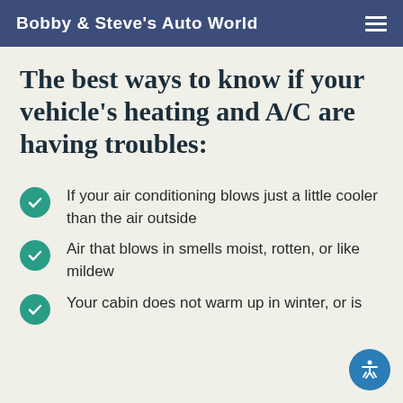Bobby & Steve's Auto World
The best ways to know if your vehicle's heating and A/C are having troubles:
If your air conditioning blows just a little cooler than the air outside
Air that blows in smells moist, rotten, or like mildew
Your cabin does not warm up in winter, or is